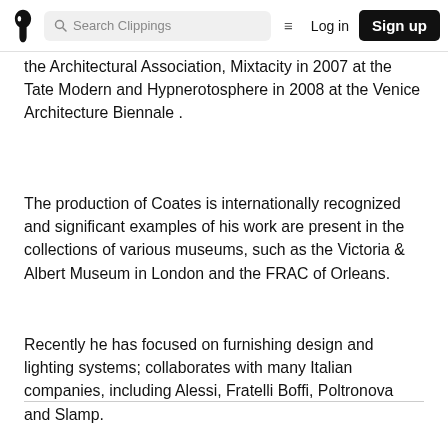Search Clippings | Log in | Sign up
the Architectural Association, Mixtacity in 2007 at the Tate Modern and Hypnerotosphere in 2008 at the Venice Architecture Biennale .
The production of Coates is internationally recognized and significant examples of his work are present in the collections of various museums, such as the Victoria & Albert Museum in London and the FRAC of Orleans.
Recently he has focused on furnishing design and lighting systems; collaborates with many Italian companies, including Alessi, Fratelli Boffi, Poltronova and Slamp.